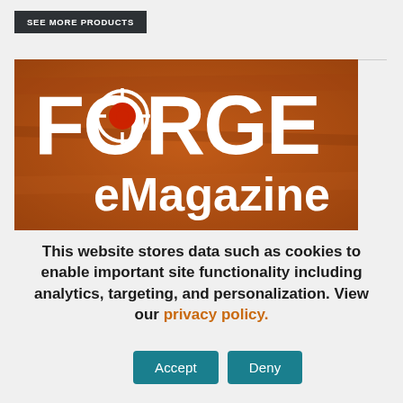SEE MORE PRODUCTS
[Figure (logo): FORGE eMagazine logo on orange/brown textured background with white bold FORGE text and orange target circle in O, white eMagazine text below]
This website stores data such as cookies to enable important site functionality including analytics, targeting, and personalization. View our privacy policy.
Accept
Deny